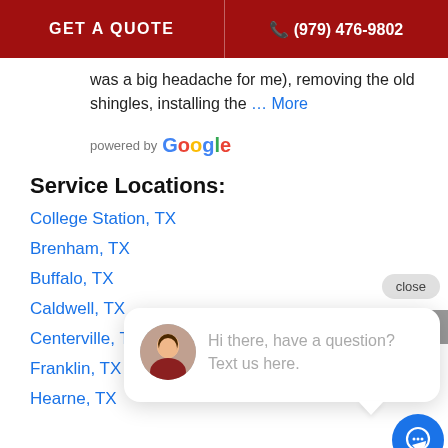GET A QUOTE   (979) 476-9802
was a big headache for me), removing the old shingles, installing the … More
[Figure (logo): powered by Google logo]
Service Locations:
College Station, TX
Brenham, TX
Buffalo, TX
Caldwell, TX
Centerville, TX
Franklin, TX
Hearne, TX
[Figure (screenshot): Chat popup overlay with avatar photo, close button, and message: Hi there, have a question? Text us here. Blue chat icon button at bottom right.]